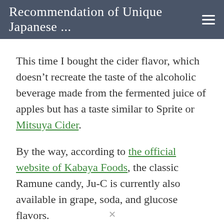Recommendation of Unique Japanese ...
This time I bought the cider flavor, which doesn’t recreate the taste of the alcoholic beverage made from the fermented juice of apples but has a taste similar to Sprite or Mitsuya Cider.
By the way, according to the official website of Kabaya Foods, the classic Ramune candy, Ju-C is currently also available in grape, soda, and glucose flavors.